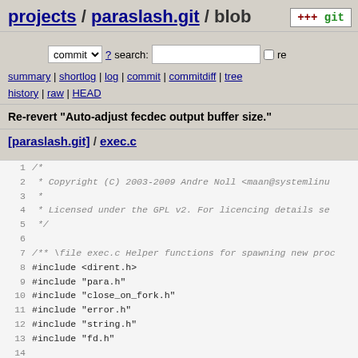projects / paraslash.git / blob
commit ? search: re
summary | shortlog | log | commit | commitdiff | tree history | raw | HEAD
Re-revert "Auto-adjust fecdec output buffer size."
[paraslash.git] / exec.c
1  /*
2   * Copyright (C) 2003-2009 Andre Noll <maan@systemlinu
3   *
4   * Licensed under the GPL v2. For licencing details se
5   */
6
7  /** \file exec.c Helper functions for spawning new proc
8  #include <dirent.h>
9  #include "para.h"
10 #include "close_on_fork.h"
11 #include "error.h"
12 #include "string.h"
13 #include "fd.h"
14
15 /**
16  * Spawn a new process and redirect fd 0, 1, and 2.
17  *
18  * \param pid Will hold the pid of the created process
19  * \param file Path of the executable to execute.